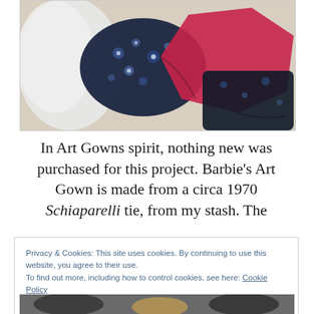[Figure (photo): Close-up photo of fabric pieces including dark navy blue floral patterned fabric and pink/magenta fabric, laid out on a light surface.]
In Art Gowns spirit, nothing new was purchased for this project. Barbie's Art Gown is made from a circa 1970 Schiaparelli tie, from my stash. The
Privacy & Cookies: This site uses cookies. By continuing to use this website, you agree to their use.
To find out more, including how to control cookies, see here: Cookie Policy

Close and accept
[Figure (photo): Partial view of a photo at the bottom of the page, showing dark and light tones suggesting figures or objects.]